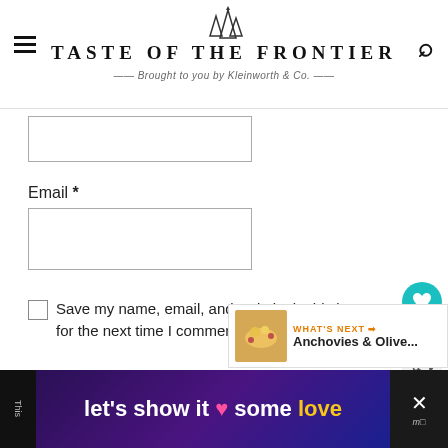TASTE OF THE FRONTIER — Brought to you by Kleinworth & Co.
[Figure (screenshot): Partial form input box (cropped at top)]
Email *
[Figure (screenshot): Email input text field]
Save my name, email, and website in this browser for the next time I comment.
[Figure (screenshot): Post Comment submit button (terracotta/brown color)]
[Figure (screenshot): Heart/like widget showing count 6 and share button]
[Figure (screenshot): What's Next widget with thumbnail and text: Anchovies & Olive...]
[Figure (screenshot): Advertisement banner: let's show it some love]